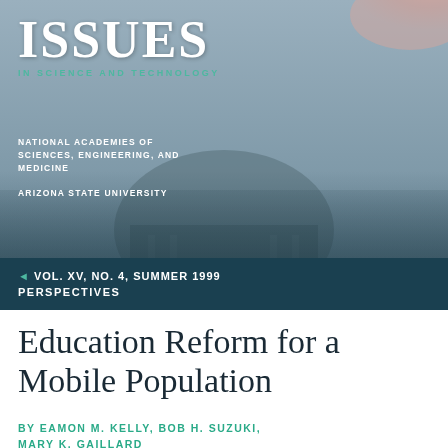[Figure (photo): Magazine cover background photo showing a classical domed building (likely Jefferson Memorial) with cherry blossoms in the upper right corner, with a blue-grey atmospheric overlay]
ISSUES IN SCIENCE AND TECHNOLOGY
NATIONAL ACADEMIES OF SCIENCES, ENGINEERING, AND MEDICINE
ARIZONA STATE UNIVERSITY
◄ VOL. XV, NO. 4, SUMMER 1999
PERSPECTIVES
Education Reform for a Mobile Population
BY EAMON M. KELLY, BOB H. SUZUKI, MARY K. GAILLARD